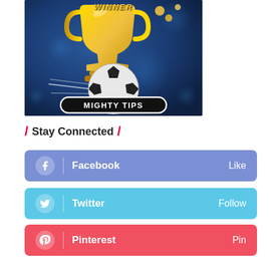[Figure (illustration): Mighty Tips promotional image with soccer ball, trophy, coins, and 'MIGHTY TIPS' text badge on a blue background with 'WINNER' text at top]
/ Stay Connected /
Facebook  Like
Twitter  Follow
Pinterest  Pin